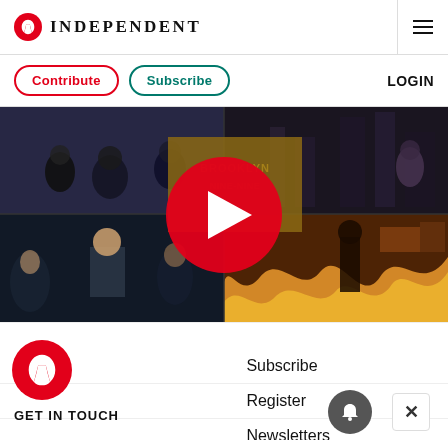INDEPENDENT
Contribute
Subscribe
LOGIN
[Figure (screenshot): Video thumbnail showing a grid of four movie/TV show scenes with a large red circular play button in the center overlay]
Close ×
Subscribe
Register
Newsletters
GET IN TOUCH